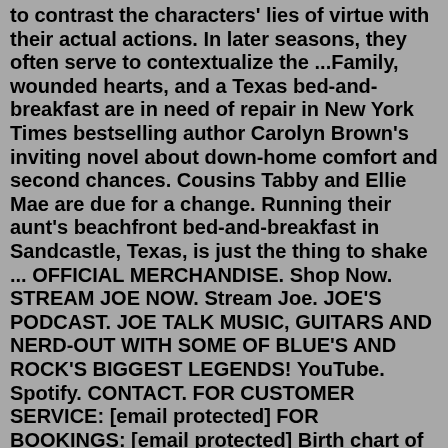to contrast the characters' lies of virtue with their actual actions. In later seasons, they often serve to contextualize the ...Family, wounded hearts, and a Texas bed-and-breakfast are in need of repair in New York Times bestselling author Carolyn Brown's inviting novel about down-home comfort and second chances. Cousins Tabby and Ellie Mae are due for a change. Running their aunt's beachfront bed-and-breakfast in Sandcastle, Texas, is just the thing to shake ... OFFICIAL MERCHANDISE. Shop Now. STREAM JOE NOW. Stream Joe. JOE'S PODCAST. JOE TALK MUSIC, GUITARS AND NERD-OUT WITH SOME OF BLUE'S AND ROCK'S BIGGEST LEGENDS! YouTube. Spotify. CONTACT. FOR CUSTOMER SERVICE: [email protected] FOR BOOKINGS: [email protected] Birth chart of Joe Penny - Astrology horoscope for Joe Penny born on June 24, 1956 at 5 ... Click one to view full shop or scroll to view full item shop history by day. 16th August. 2022. 15th August. 2022. 14th August. 2022. 13th August. 2022. 12th August ... baby doll shoes